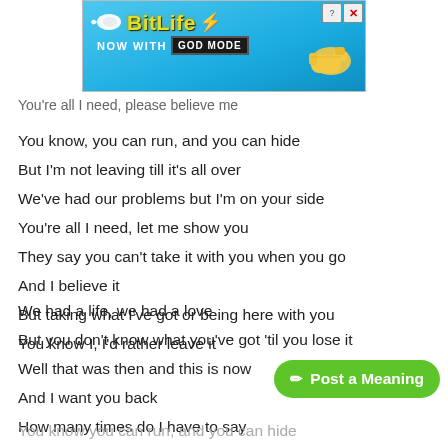[Figure (other): BitLife advertisement banner with 'NOW WITH GOD MODE' text, cartoon sperm character, lightning bolt, and pointing hand graphic on blue background]
You're all I need, please believe me
You know, you can run, and you can hide
But I'm not leaving till it's all over
We've had our problems but I'm on your side
You're all I need, let me show you
They say you can't take it with you when you go
And I believe it
But taking what I've got or being here with you
You know I, I'd rather leave it
We had a life, we had a love
But you don't know what you've got 'til you lose it
Well that was then and this is now
And I want you back
How many times do I have to say
[Figure (other): Green 'Post a Meaning' button with pencil icon]
You know you can run, and you can hide